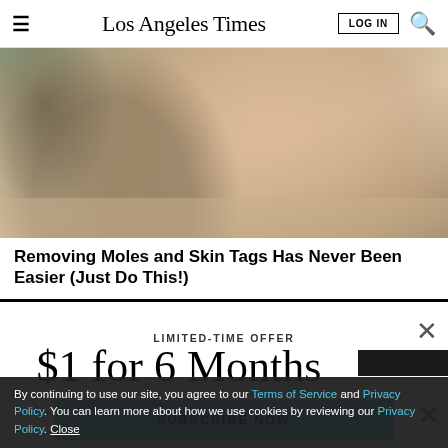Los Angeles Times
[Figure (photo): Close-up photo of a person's neck and lower face/chin area, showing skin with slight stubble]
Removing Moles and Skin Tags Has Never Been Easier (Just Do This!)
LIMITED-TIME OFFER
$1 for 6 Months
SUBSCRIBE NOW
By continuing to use our site, you agree to our Terms of Service and Privacy Policy. You can learn more about how we use cookies by reviewing our Privacy Policy. Close
Rare conversations with TV's top stars.